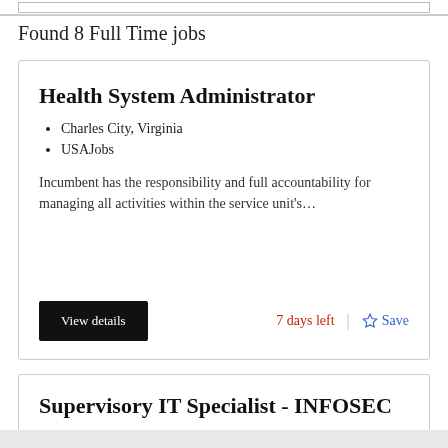Found 8 Full Time jobs
Health System Administrator
Charles City, Virginia
USAJobs
Incumbent has the responsibility and full accountability for managing all activities within the service unit's…
View details
7 days left
Save
Supervisory IT Specialist - INFOSEC